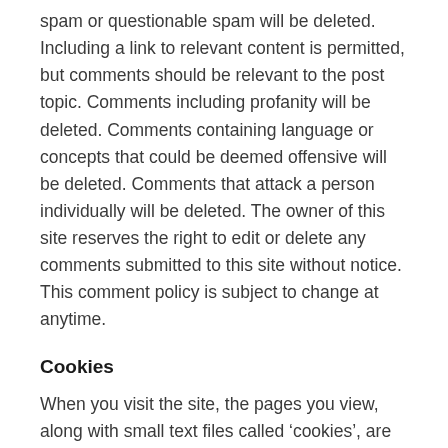spam or questionable spam will be deleted. Including a link to relevant content is permitted, but comments should be relevant to the post topic. Comments including profanity will be deleted. Comments containing language or concepts that could be deemed offensive will be deleted. Comments that attack a person individually will be deleted. The owner of this site reserves the right to edit or delete any comments submitted to this site without notice. This comment policy is subject to change at anytime.
Cookies
When you visit the site, the pages you view, along with small text files called ‘cookies’, are downloaded onto your computer. Each time you visit the site your computer will download a session cookie. This cookie only remains on your computer till you close your